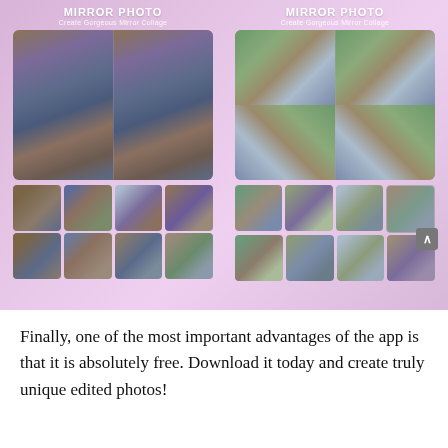[Figure (screenshot): Two side-by-side smartphone app screenshots for 'MIRROR PHOTO – Create Gorgeous Mirror Collage'. Each shows a mirror photo collage effect with thumbnails of various mirror styles below the main image.]
Finally, one of the most important advantages of the app is that it is absolutely free. Download it today and create truly unique edited photos!